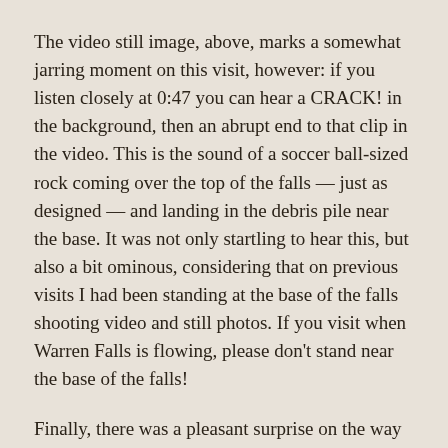The video still image, above, marks a somewhat jarring moment on this visit, however: if you listen closely at 0:47 you can hear a CRACK! in the background, then an abrupt end to that clip in the video. This is the sound of a soccer ball-sized rock coming over the top of the falls — just as designed — and landing in the debris pile near the base. It was not only startling to hear this, but also a bit ominous, considering that on previous visits I had been standing at the base of the falls shooting video and still photos. If you visit when Warren Falls is flowing, please don't stand near the base of the falls!
Finally, there was a pleasant surprise on the way out that day. For some reason I had never noticed, but the USFS trailhead sign at Starvation Creek (pictured at the top of this article) actually lists Warren Falls as a destination!